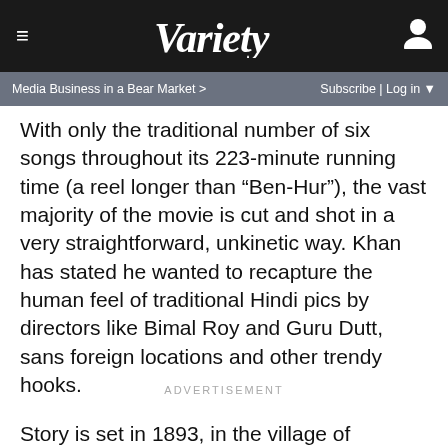VARIETY — Media Business in a Bear Market > | Subscribe | Log in
With only the traditional number of six songs throughout its 223-minute running time (a reel longer than “Ben-Hur”), the vast majority of the movie is cut and shot in a very straightforward, unkinetic way. Khan has stated he wanted to recapture the human feel of traditional Hindi pics by directors like Bimal Roy and Guru Dutt, sans foreign locations and other trendy hooks.
ADVERTISEMENT
Story is set in 1893, in the village of Champaner, riven by drought and burdened with the hated “lagaan,” a tax levied by the occupying Brits via tame rajahs in return for protecting them from rivals. When the region’s commander, Capt. Andrew Russell (Paul Blackthorne), forces the local rajah (Kulbhushan